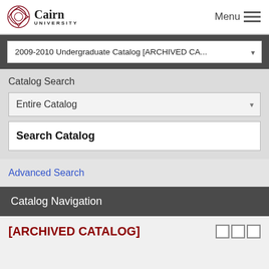[Figure (logo): Cairn University logo with Celtic knot symbol and text 'Cairn UNIVERSITY']
Menu ≡
2009-2010 Undergraduate Catalog [ARCHIVED CA...
Catalog Search
Entire Catalog
Search Catalog
Advanced Search
Catalog Navigation
[ARCHIVED CATALOG]